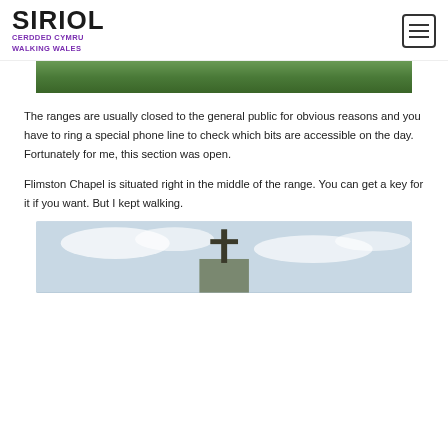SIRIOL CERDDED CYMRU WALKING WALES
[Figure (photo): Top portion of a landscape photo showing green grassy field/rangeland]
The ranges are usually closed to the general public for obvious reasons and you have to ring a special phone line to check which bits are accessible on the day. Fortunately for me, this section was open.
Flimston Chapel is situated right in the middle of the range. You can get a key for it if you want. But I kept walking.
[Figure (photo): Bottom portion showing Flimston Chapel with a cross on top against a cloudy sky]